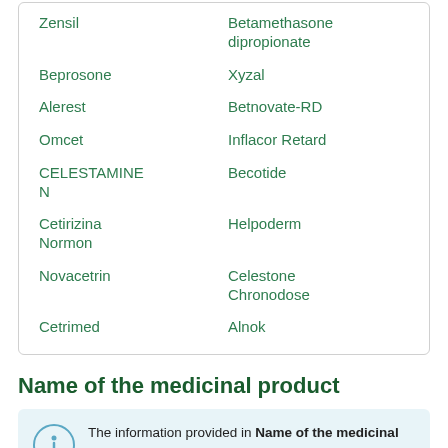Zensil
Betamethasone dipropionate
Beprosone
Xyzal
Alerest
Betnovate-RD
Omcet
Inflacor Retard
CELESTAMINE N
Becotide
Cetirizina Normon
Helpoderm
Novacetrin
Celestone Chronodose
Cetrimed
Alnok
Name of the medicinal product
The information provided in Name of the medicinal product of Xin Ming Ting is based on data of more...